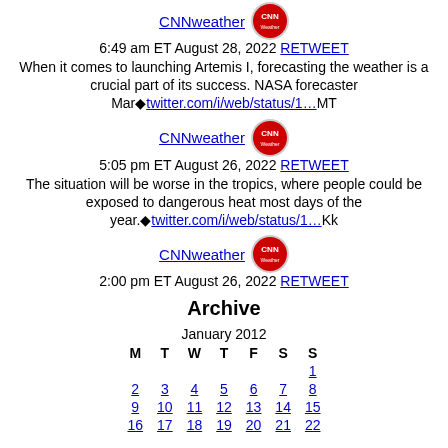CNNweather 6:49 am ET August 28, 2022 RETWEET When it comes to launching Artemis I, forecasting the weather is a crucial part of its success. NASA forecaster Mar�twitter.com/i/web/status/1…MT
CNNweather 5:05 pm ET August 26, 2022 RETWEET The situation will be worse in the tropics, where people could be exposed to dangerous heat most days of the year.�twitter.com/i/web/status/1…Kk
CNNweather 2:00 pm ET August 26, 2022 RETWEET
Archive
| M | T | W | T | F | S | S |
| --- | --- | --- | --- | --- | --- | --- |
|  |  |  |  |  |  | 1 |
| 2 | 3 | 4 | 5 | 6 | 7 | 8 |
| 9 | 10 | 11 | 12 | 13 | 14 | 15 |
| 16 | 17 | 18 | 19 | 20 | 21 | 22 |